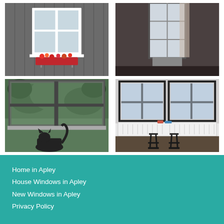[Figure (photo): Window with red flower box on grey wooden wall exterior]
[Figure (photo): Interior attic window with curtain and natural light]
[Figure (photo): Open window with view of green trees, cat silhouette at bottom]
[Figure (photo): Modern interior room with large black-framed windows, white radiator covers, and two black bar stools]
Home in Apley
House Windows in Apley
New Windows in Apley
Privacy Policy